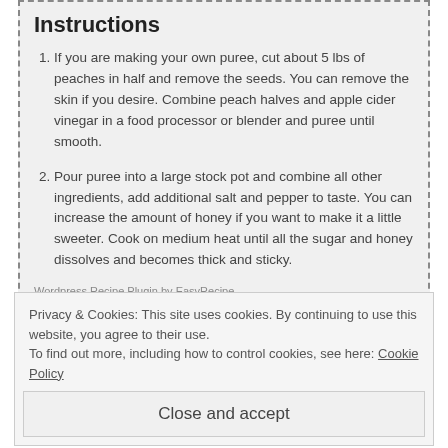Instructions
If you are making your own puree, cut about 5 lbs of peaches in half and remove the seeds. You can remove the skin if you desire. Combine peach halves and apple cider vinegar in a food processor or blender and puree until smooth.
Pour puree into a large stock pot and combine all other ingredients, add additional salt and pepper to taste. You can increase the amount of honey if you want to make it a little sweeter. Cook on medium heat until all the sugar and honey dissolves and becomes thick and sticky.
Wordpress Recipe Plugin by EasyRecipe
Privacy & Cookies: This site uses cookies. By continuing to use this website, you agree to their use.
To find out more, including how to control cookies, see here: Cookie Policy
Close and accept